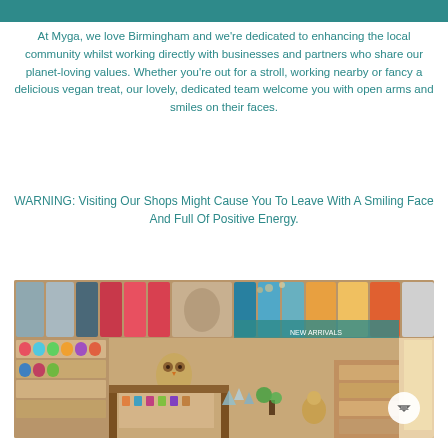At Myga, we love Birmingham and we're dedicated to enhancing the local community whilst working directly with businesses and partners who share our planet-loving values. Whether you're out for a stroll, working nearby or fancy a delicious vegan treat, our lovely, dedicated team welcome you with open arms and smiles on their faces.
WARNING: Visiting Our Shops Might Cause You To Leave With A Smiling Face And Full Of Positive Energy.
[Figure (photo): Interior of Myga shop showing yoga mats in various colors displayed on wall, shelves with products, accessories, crystals, and other wellness/yoga items arranged on wooden display tables and shelving units.]